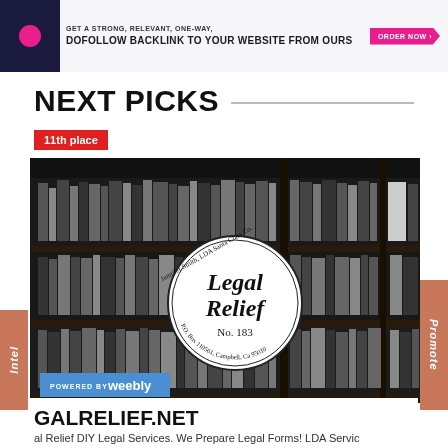[Figure (screenshot): Banner advertisement: GET A STRONG, RELEVANT, ONE-WAY, DOFOLLOW BACKLINK TO YOUR WEBSITE FROM OURS with ORDER NOW button]
NEXT PICKS
11th place
[Figure (photo): Black and white photo of a library bookshelf with a Legal Relief No. 183 circular logo overlay, Jennifer Smith LDA Santa Clara Co., and a Powered by Weebly badge]
GALRELIEF.NET
al Relief DIY Legal Services. We Prepare Legal Forms! LDA Servic